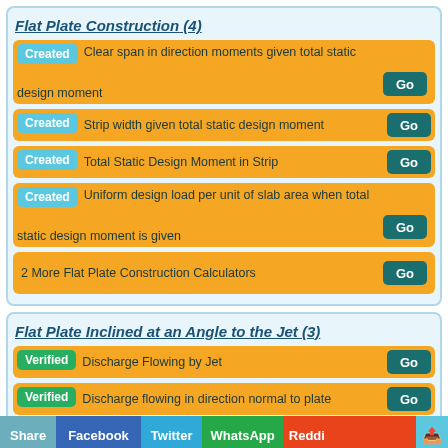Flat Plate Construction (4)
Created — Clear span in direction moments given total static design moment — Go
Created — Strip width given total static design moment — Go
Created — Total Static Design Moment in Strip — Go
Created — Uniform design load per unit of slab area when total static design moment is given — Go
2 More Flat Plate Construction Calculators — Go
Flat Plate Inclined at an Angle to the Jet (3)
Verified — Discharge Flowing by Jet — Go
Verified — Discharge flowing in direction normal to plate — Go
Verified — Discharge flowing in direction parallel to plate — Go
Share | Facebook | Twitter | WhatsApp | Reddit